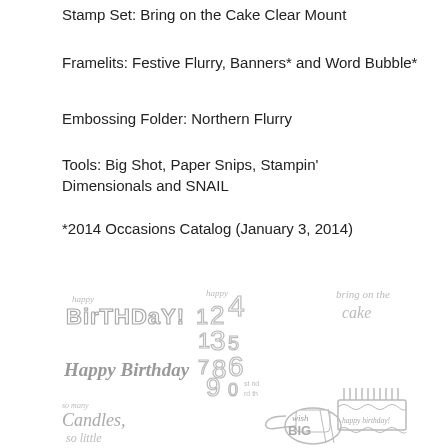Stamp Set: Bring on the Cake Clear Mount
Framelits: Festive Flurry, Banners* and Word Bubble*
Embossing Folder: Northern Flurry
Tools: Big Shot, Paper Snips, Stampin' Dimensionals and SNAIL
*2014 Occasions Catalog (January 3, 2014)
[Figure (illustration): Rubber stamp set illustrations showing birthday-themed stamps: 'happy BirTHDaY!' in outlined letters, 'Happy Birthday' in script, a number collage with 'happy' above numbers 1-0 with ordinal suffixes, 'bring on the cake' in handwritten style, 'so many Candles, so little...' in script, a hand pointing with 'wish BIG' text, and a birthday cake with 'happy birthday!' text and candles.]